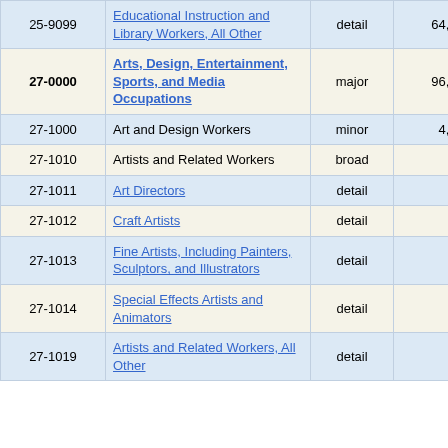| Code | Title | Level | Number |  |
| --- | --- | --- | --- | --- |
| 25-9099 | Educational Instruction and Library Workers, All Other | detail | 64,540 | 2 |
| 27-0000 | Arts, Design, Entertainment, Sports, and Media Occupations | major | 96,260 | 1 |
| 27-1000 | Art and Design Workers | minor | 4,370 | 1 |
| 27-1010 | Artists and Related Workers | broad | 570 | 5 |
| 27-1011 | Art Directors | detail | 260 | 6 |
| 27-1012 | Craft Artists | detail | 50 | 1 |
| 27-1013 | Fine Artists, Including Painters, Sculptors, and Illustrators | detail | 40 | 10 |
| 27-1014 | Special Effects Artists and Animators | detail | 110 | 8 |
| 27-1019 | Artists and Related Workers, All Other | detail | 100 | 21 |